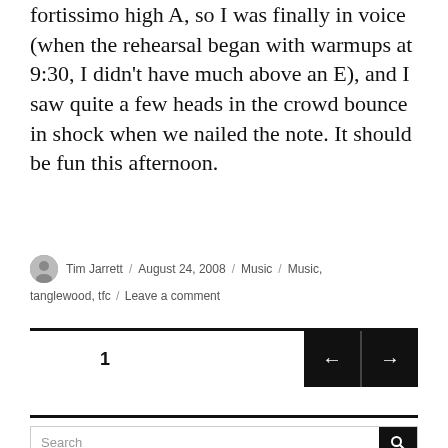fortissimo high A, so I was finally in voice (when the rehearsal began with warmups at 9:30, I didn't have much above an E), and I saw quite a few heads in the crowd bounce in shock when we nailed the note. It should be fun this afternoon.
Tim Jarrett / August 24, 2008 / Music / Music, tanglewood, tfc / Leave a comment
1